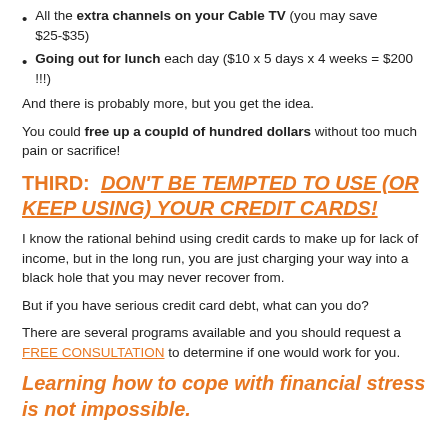All the extra channels on your Cable TV (you may save $25-$35)
Going out for lunch each day ($10 x 5 days x 4 weeks = $200 !!!)
And there is probably more, but you get the idea.
You could free up a coupld of hundred dollars without too much pain or sacrifice!
THIRD:  DON'T BE TEMPTED TO USE (OR KEEP USING) YOUR CREDIT CARDS!
I know the rational behind using credit cards to make up for lack of income, but in the long run, you are just charging your way into a black hole that you may never recover from.
But if you have serious credit card debt, what can you do?
There are several programs available and you should request a FREE CONSULTATION to determine if one would work for you.
Learning how to cope with financial stress is not impossible.